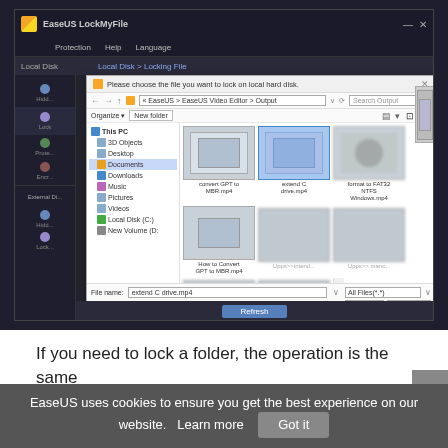[Figure (screenshot): EaseUS LockMyFile application window showing a Windows file browser dialog titled 'Please choose the file you want to lock on local hard disk.' The dialog shows a navigation to EaseUS > EaseUS Video Editor > Output folder, with multiple video file thumbnails visible. One file named 'extend C drive.mp4' is selected (highlighted in blue). The filename field shows 'extend C drive.mp4' and file type shows 'All Files (*.*)'. Open and Cancel buttons are visible at the bottom.]
If you need to lock a folder, the operation is the same
EaseUS uses cookies to ensure you get the best experience on our website.  Learn more   Got it